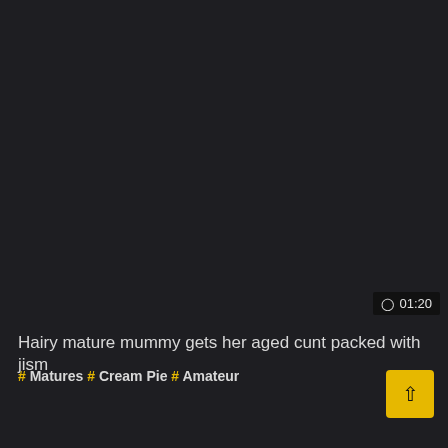⊙ 01:20
Hairy mature mummy gets her aged cunt packed with jism
# Matures # Cream Pie # Amateur